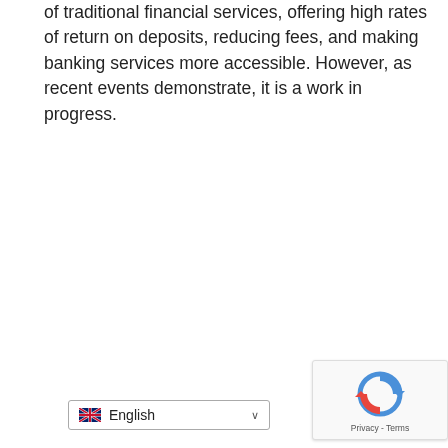of traditional financial services, offering high rates of return on deposits, reducing fees, and making banking services more accessible. However, as recent events demonstrate, it is a work in progress.
[Figure (other): Language selector dropdown showing UK flag and 'English' with a dropdown arrow]
[Figure (other): Google reCAPTCHA widget with spinning arrow logo and Privacy - Terms text]